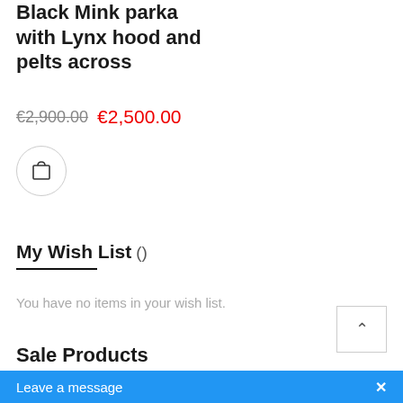Black Mink parka with Lynx hood and pelts across
€2,900.00  €2,500.00
[Figure (other): Shopping cart icon button (circle with cart icon)]
My Wish List ()
You have no items in your wish list.
Sale Products
Silver Crose Mink Fur Hat Beret
[Figure (other): Scroll to top button with up chevron arrow]
Leave a message  ×